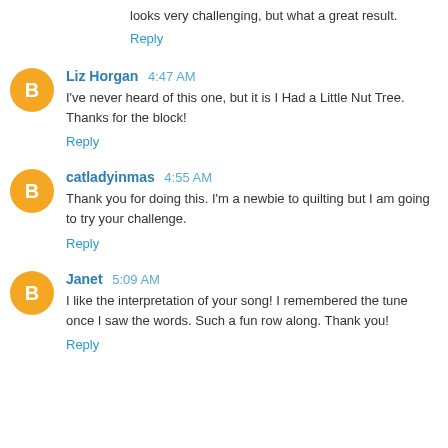looks very challenging, but what a great result.
Reply
Liz Horgan 4:47 AM
I've never heard of this one, but it is I Had a Little Nut Tree. Thanks for the block!
Reply
catladyinmas 4:55 AM
Thank you for doing this. I'm a newbie to quilting but I am going to try your challenge.
Reply
Janet 5:09 AM
I like the interpretation of your song! I remembered the tune once I saw the words. Such a fun row along. Thank you!
Reply